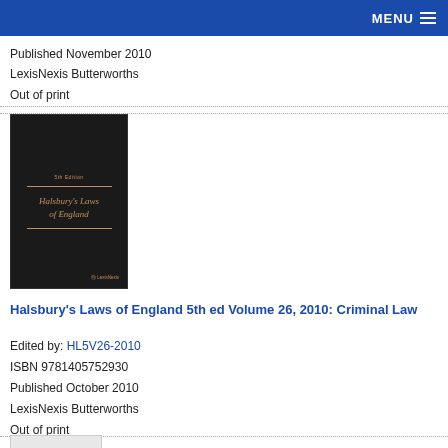MENU
Published November 2010
LexisNexis Butterworths
Out of print
[Figure (photo): Book cover of Halsbury's Laws of England, dark navy/black cover with gold text and decorative lines, LexisNexis logo at bottom right]
Halsbury's Laws of England 5th ed Volume 26, 2010: Criminal Law
Edited by: HL5V26-2010
ISBN 9781405752930
Published October 2010
LexisNexis Butterworths
Out of print